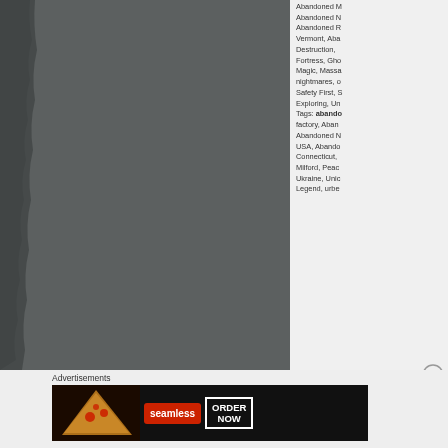[Figure (photo): A grayscale photo of an abandoned building interior or exterior, predominantly dark gray tones with rough textured edges visible on the left side.]
Abandoned M Abandoned N Abandoned R Vermont, Aba Destruction, Fortress, Gho Magic, Massa nightmares, o Safety First, S Exploring, Un Tags: abando factory, Aban Abandoned N USA, Abando Connecticut, Milford, Peac Ukraine, Unic Legend, urbe
Advertisements
[Figure (screenshot): Seamless food delivery service advertisement banner showing pizza slices on the left, the Seamless logo in red center, and ORDER NOW button on the right.]